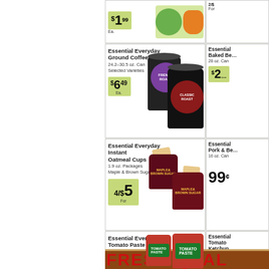[Figure (photo): Partial top row showing $1.99 Ea. price tag with fruit/vegetable cans]
[Figure (photo): Essential Everyday Ground Coffee 24.2-30.5 oz. Can, Selected Varieties, $6.49 Ea., showing French Roast and Classic Roast cans]
[Figure (photo): Essential Everyday Instant Oatmeal Cups 1.9 oz. Packages Maple & Brown Sugar, 4/$5 For]
[Figure (photo): Essential Everyday Tomato Paste 6 oz. Can, Selected Varieties, 59¢ Ea.]
[Figure (photo): Right column partial: Essential Everyday Baked Beans 28 oz. Can, $2-something]
[Figure (photo): Right column partial: Essential Everyday Pork & Beans 16 oz. Can, 99¢]
[Figure (photo): Right column partial: Essential Everyday Tomato Ketchup 24 oz. Bottle, $1-something]
FRESH QUAL (banner, partially visible)